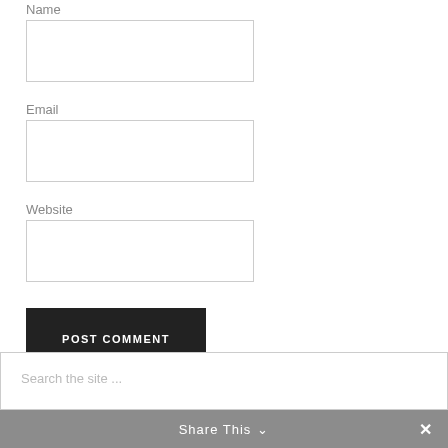Name
[Figure (other): Name text input field]
Email
[Figure (other): Email text input field]
Website
[Figure (other): Website text input field]
[Figure (other): POST COMMENT button]
[Figure (other): Search the site ... input field]
Share This